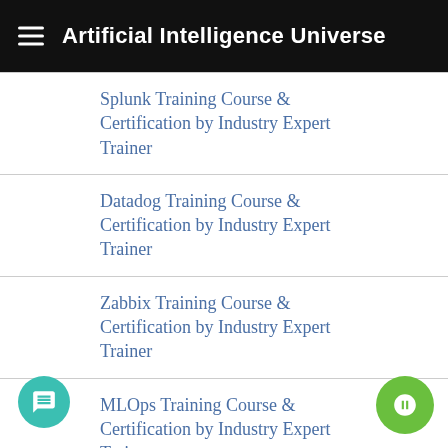Artificial Intelligence Universe
Splunk Training Course & Certification by Industry Expert Trainer
Datadog Training Course & Certification by Industry Expert Trainer
Zabbix Training Course & Certification by Industry Expert Trainer
MLOps Training Course & Certification by Industry Expert Trainer
DataOps Training Course &